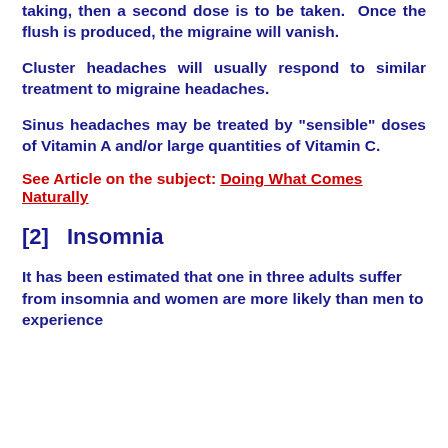taking, then a second dose is to be taken. Once the flush is produced, the migraine will vanish.
Cluster headaches will usually respond to similar treatment to migraine headaches.
Sinus headaches may be treated by "sensible" doses of Vitamin A and/or large quantities of Vitamin C.
See Article on the subject: Doing What Comes Naturally
[2]   Insomnia
It has been estimated that one in three adults suffer from insomnia and women are more likely than men to experience